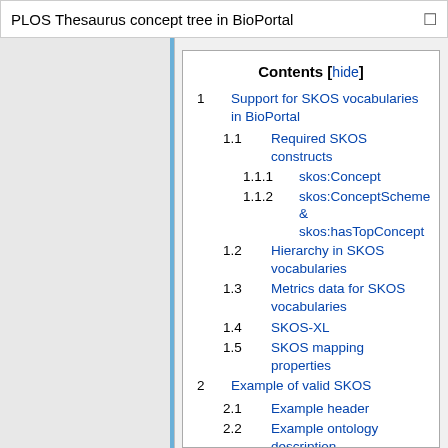PLOS Thesaurus concept tree in BioPortal
1 Support for SKOS vocabularies in BioPortal
1.1 Required SKOS constructs
1.1.1 skos:Concept
1.1.2 skos:ConceptScheme & skos:hasTopConcept
1.2 Hierarchy in SKOS vocabularies
1.3 Metrics data for SKOS vocabularies
1.4 SKOS-XL
1.5 SKOS mapping properties
2 Example of valid SKOS
2.1 Example header
2.2 Example ontology description
2.3 Example term definitions
2.4 Closing XML